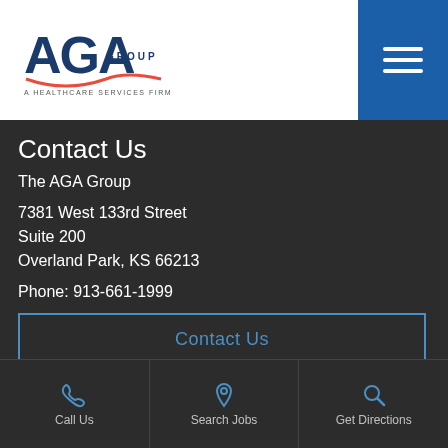[Figure (logo): AGA Group logo - A Healthcare Services Firm]
Contact Us
The AGA Group
7381 West 133rd Street
Suite 200
Overland Park, KS 66213
Phone: 913-661-1999
Contact Us
Call Us | Search Jobs | Get Directions